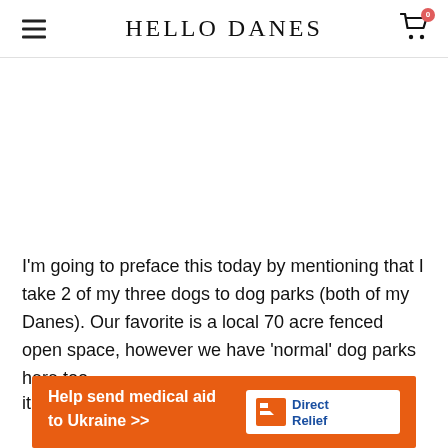HELLO DANES
I'm going to preface this today by mentioning that I take 2 of my three dogs to dog parks (both of my Danes). Our favorite is a local 70 acre fenced open space, however we have 'normal' dog parks here too.
it...
[Figure (other): Orange advertisement banner: Help send medical aid to Ukraine >> with Direct Relief logo on white background]